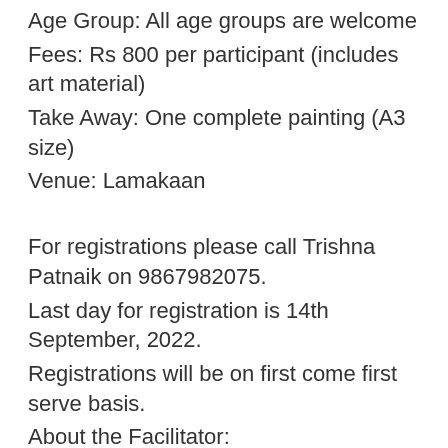Age Group: All age groups are welcome
Fees: Rs 800 per participant (includes art material)
Take Away: One complete painting (A3 size)
Venue: Lamakaan
For registrations please call Trishna Patnaik on 9867982075.
Last day for registration is 14th September, 2022.
Registrations will be on first come first serve basis.
About the Facilitator:
Trishna Patnaik, a Bsc (in Life Sciences) and MBA (in Marketing) by qualification but an artist by choice. A self-taught artist based in Mumbai, Trishna has been practising art for over 14 years